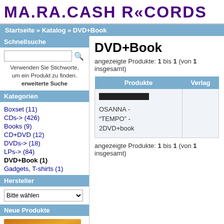MA.RA.CASH RECORDS
Startseite » Katalog » DVD+Book
Schnellsuche
Verwenden Sie Stichworte, um ein Produkt zu finden. erweiterte Suche
Kategorien
Boxset (11)
CDs-> (426)
Books (9)
CD+DVD (12)
DVDs-> (18)
LPs-> (84)
DVD+Book (1)
Gadgets, T-shirts (1)
Hersteller
Bitte wählen
Neue Produkte
DVD+Book
angezeigte Produkte: 1 bis 1 (von 1 insgesamt)
| Produkte | Verlag |
| --- | --- |
| OSANNA - "TEMPO" - 2DVD+book |  |
angezeigte Produkte: 1 bis 1 (von 1 insgesamt)